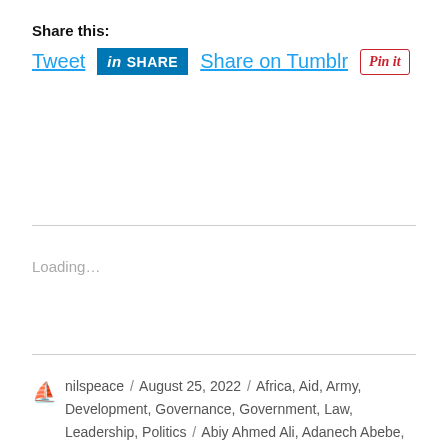Share this:
Tweet  in SHARE  Share on Tumblr  Pin it
Loading…
nilspeace / August 25, 2022 / Africa, Aid, Army, Development, Governance, Government, Law, Leadership, Politics / Abiy Ahmed Ali, Adanech Abebe, Afar Liberation Front, Afewerki, ALF, Dawud Ibsa Ayana, Debretsion Gebremichael, Demeke Mekonnen, ENDF, Eritrea, Ethiopia, Ethiopian National Defence Force, Ethiopian National Defense Force, Finfinne, Getachew Reda, Horn of Africa, Isaias Afewerki, Issa-Somali, Issa-Somali, Mei Gna, Terfrou Avnlmo, Madhania